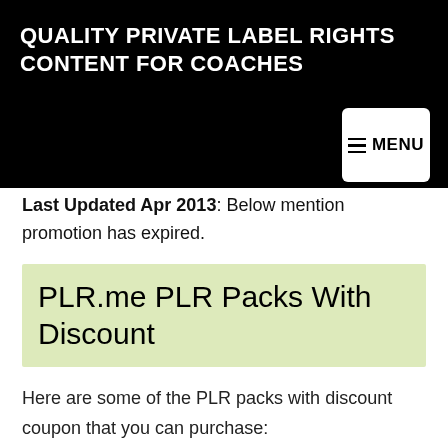QUALITY PRIVATE LABEL RIGHTS CONTENT FOR COACHES
Last Updated Apr 2013: Below mention promotion has expired.
PLR.me PLR Packs With Discount
Here are some of the PLR packs with discount coupon that you can purchase: